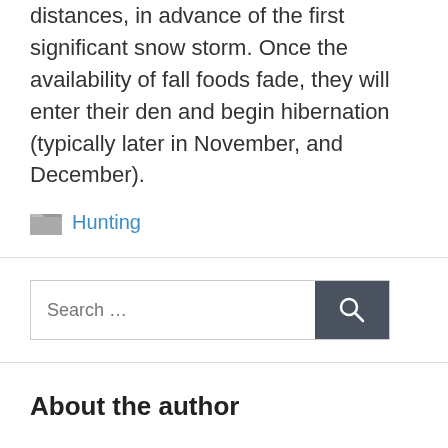distances, in advance of the first significant snow storm. Once the availability of fall foods fade, they will enter their den and begin hibernation (typically later in November, and December).
Hunting
Search …
About the author